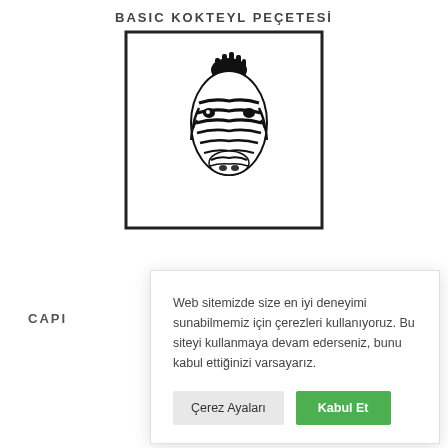BASIC KOKTEYL PEÇETESİ
[Figure (photo): A white cocktail napkin with a black border featuring a printed zebra head illustration in black and white stripes, folded and displayed flat against a white background.]
CAPI
Web sitemizde size en iyi deneyimi sunabilmemiz için çerezleri kullanıyoruz. Bu siteyi kullanmaya devam ederseniz, bunu kabul ettiğinizi varsayarız.
Çerez Ayaları
Kabul Et